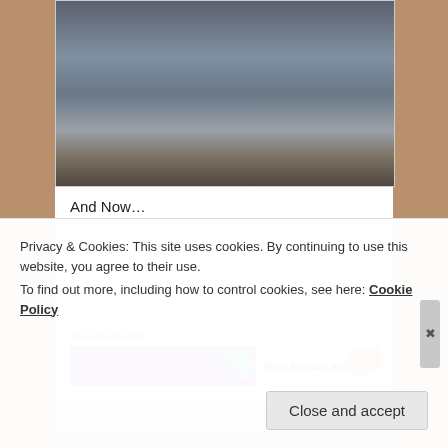[Figure (photo): Photo of an ornate patterned carpet/rug on a floor, with decorative floral designs in blue-grey tones near a doorway]
And Now…
Advertisements
[Figure (screenshot): Advertisement banner with purple background, green arrow shape, and text 'How to start selling' with orange shape on right]
[Figure (photo): Photo of a room under construction with wooden boards and dusty walls visible]
Privacy & Cookies: This site uses cookies. By continuing to use this website, you agree to their use.
To find out more, including how to control cookies, see here: Cookie Policy
Close and accept